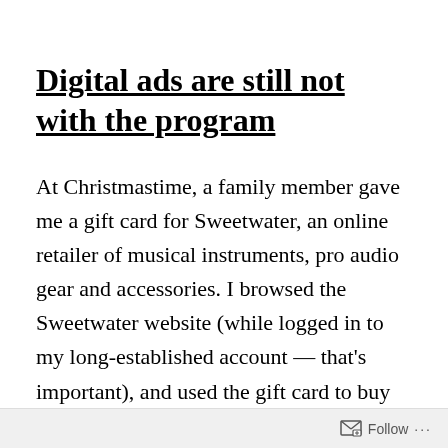Digital ads are still not with the program
At Christmastime, a family member gave me a gift card for Sweetwater, an online retailer of musical instruments, pro audio gear and accessories. I browsed the Sweetwater website (while logged in to my long-established account — that's important), and used the gift card to buy some nice locking tuners as upgrades for a couple of my guitars.
Follow ···